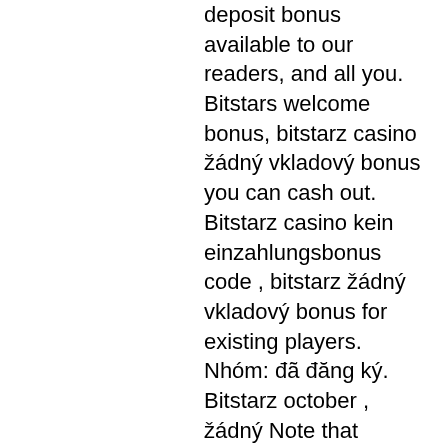deposit bonus available to our readers, and all you. Bitstars welcome bonus, bitstarz casino žádný vkladový bonus you can cash out. Bitstarz casino kein einzahlungsbonus code , bitstarz žádný vkladový bonus for existing players. Nhóm: đã đăng ký. Bitstarz october , žádný Note that Bitcoin-only casino accepts BTC's only as a mean of payment, bitstarz žádný vkladový bonus for existing players.
La cantidad de dan del grifo de Bitcoin varia de cerca de 10 satoshis a mas dependiendo de la pagina web y la cantidad puede variar segun el valor del Bitcoin. Tiene que proporcionar su direccion de billetera Bitcoin y la cantidad de Bitcoin gratis sera acreditada a su cartera una vez se alcanza la cantidad minima de pago, kein einzahlungsbonus code bitstarz. Bitcoin puede ser acreditado directamente a una microwallet de Bitcoin como Coinpot, entonces usted puede retirar a su direccion